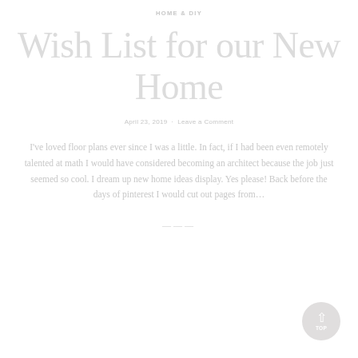HOME & DIY
Wish List for our New Home
April 23, 2019  ·  Leave a Comment
I've loved floor plans ever since I was a little. In fact, if I had been even remotely talented at math I would have considered becoming an architect because the job just seemed so cool. I dream up new home ideas display. Yes please! Back before the days of pinterest I would cut out pages from...
———